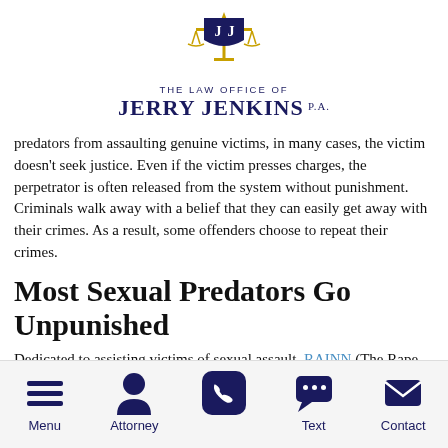[Figure (logo): The Law Office of Jerry Jenkins P.A. logo with gold scales of justice and navy blue shield with J J initials]
predators from assaulting genuine victims, in many cases, the victim doesn't seek justice. Even if the victim presses charges, the perpetrator is often released from the system without punishment. Criminals walk away with a belief that they can easily get away with their crimes. As a result, some offenders choose to repeat their crimes.
Most Sexual Predators Go Unpunished
Dedicated to assisting victims of sexual assault, RAINN (The Rape, Abuse, & Incest National Network) explains why victims underreport assault crimes.
Menu | Attorney | [Phone] | Text | Contact